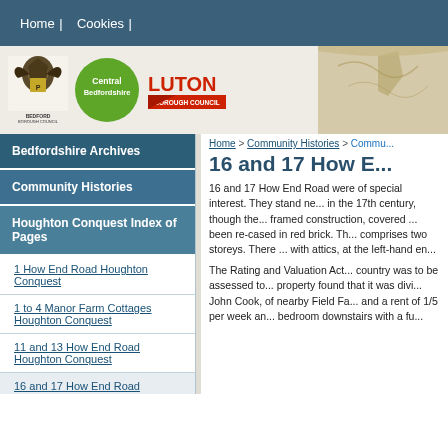Home | Cookies |
[Figure (logo): Bedford Borough Council logo, Central Bedfordshire logo (green circle), Luton Borough Council logo (red triangle)]
Home > Community Histories > Commu...
16 and 17 How E...
Bedfordshire Archives
Community Histories
Houghton Conquest Index of Pages
1 How End Road Houghton Conquest
1 to 4 Manor Farm Cottages Houghton Conquest
11 and 13 How End Road Houghton Conquest
16 and 17 How End Road Houghton Conquest
16 and 17 How End Road were of special interest. They stand near in the 17th century, though the framed construction, covered been re-cased in red brick. Th comprises two storeys. There with attics, at the left-hand end
The Rating and Valuation Act country was to be assessed to property found that it was divi John Cook, of nearby Field Fa and a rent of 1/5 per week and bedroom downstairs with a fu...